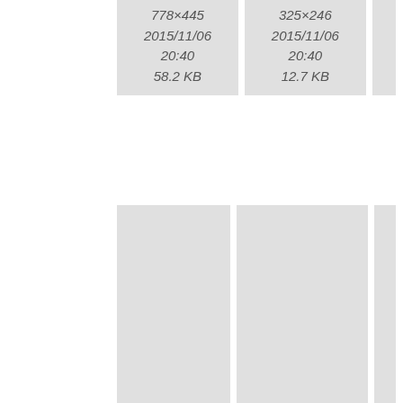[Figure (screenshot): File browser grid view showing image thumbnails with filenames, dimensions, dates, and file sizes. Partial top row shows two files with metadata: 778×445, 2015/11/06 20:40, 58.2 KB and 325×246, 2015/11/06 20:40, 12.7 KB. Middle row shows grilles.png (138×25, 2015/11/06 20:40, 1.5 KB) and hai.png (400×251, 2015/11/06 20:40, 117.7 KB with thumbnail). Bottom row shows hai360.png and hai360obl... partially visible.]